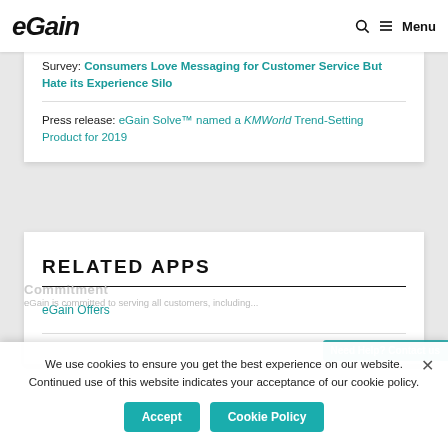eGain  Menu
Survey: Consumers Love Messaging for Customer Service But Hate its Experience Silo
Press release: eGain Solve™ named a KMWorld Trend-Setting Product for 2019
RELATED APPS
eGain Offers
We use cookies to ensure you get the best experience on our website. Continued use of this website indicates your acceptance of our cookie policy.
Commitment
eGain is committed to serving all customers, including...